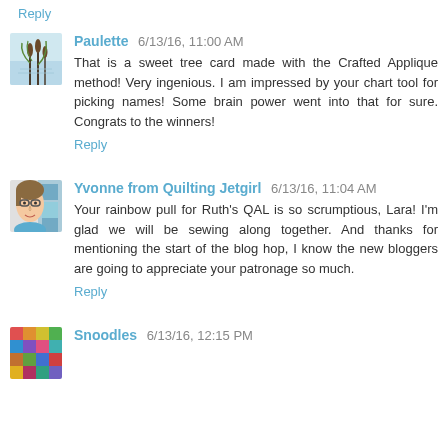Reply
Paulette 6/13/16, 11:00 AM
That is a sweet tree card made with the Crafted Applique method! Very ingenious. I am impressed by your chart tool for picking names! Some brain power went into that for sure. Congrats to the winners!
Reply
Yvonne from Quilting Jetgirl 6/13/16, 11:04 AM
Your rainbow pull for Ruth's QAL is so scrumptious, Lara! I'm glad we will be sewing along together. And thanks for mentioning the start of the blog hop, I know the new bloggers are going to appreciate your patronage so much.
Reply
Snoodles 6/13/16, 12:15 PM